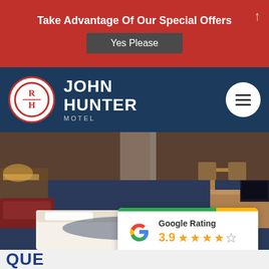Take Advantage Of Our Special Offers
Yes Please
[Figure (logo): John Hunter Motel logo with RH monogram in red circle on dark blue navigation bar]
[Figure (photo): Hotel motel room interior showing bed with white linen, blue carpet, sofa, chairs, desk and TV]
[Figure (infographic): Google Rating card showing 3.9 stars out of 5 with green and yellow top bar]
QUE